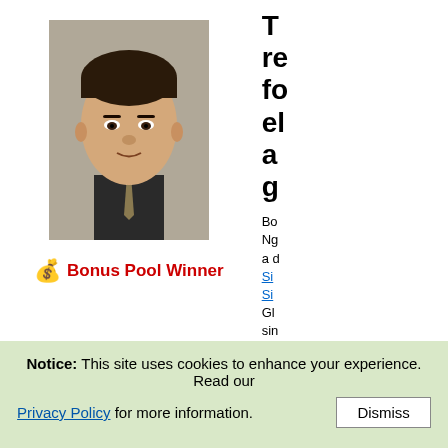[Figure (photo): Headshot photo of an Asian man in a dark suit and tie]
💰 Bonus Pool Winner
T re fo el a g Bo Ng a d Si Si Gl sin 12 Gl sin ru lu or bu
Notice: This site uses cookies to enhance your experience. Read our Privacy Policy for more information. Dismiss